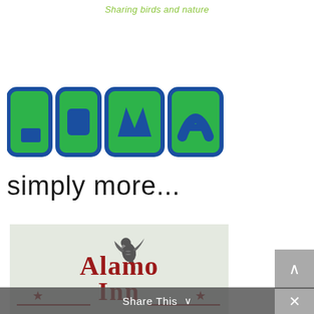Sharing birds and nature
[Figure (logo): LOWA logo — green rounded-rectangle letterforms with blue border spelling LOWA, with tagline 'simply more...' below]
[Figure (logo): Alamo Inn logo — dark red stylized text 'Alamo Inn' with a bird silhouette (hawk/falcon) in the center, on a light gray-green background, decorative star and lines]
Share This